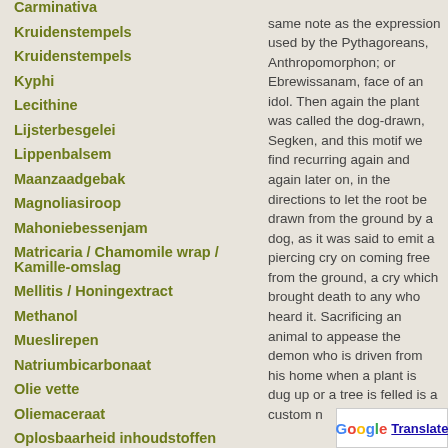Carminativa
Kruidenstempels
Kruidenstempels
Kyphi
Lecithine
Lijsterbesgelei
Lippenbalsem
Maanzaadgebak
Magnoliasiroop
Mahoniebessenjam
Matricaria / Chamomile wrap / Kamille-omslag
Mellitis / Honingextract
Methanol
Mueslirepen
Natriumbicarbonaat
Olie vette
Oliemaceraat
Oplosbaarheid inhoudstoffen
Paardenbloemgelei
same note as the expression used by the Pythagoreans, Anthropomorphon; or Ebrewissanam, face of an idol. Then again the plant was called the dog-drawn, Segken, and this motif we find recurring again and again later on, in the directions to let the root be drawn from the ground by a dog, as it was said to emit a piercing cry on coming free from the ground, a cry which brought death to any who heard it. Sacrificing an animal to appease the demon who is driven from his home when a plant is dug up or a tree is felled is a custom n